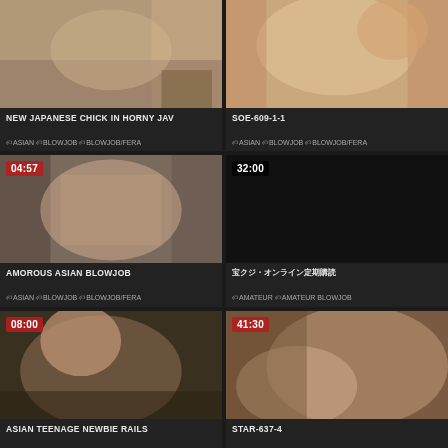[Figure (screenshot): Video thumbnail for New Japanese Chick in Horny JAV]
NEW JAPANESE CHICK IN HORNY JAV
ASIAN  BLOWJOB  BLOWJOB/FERA
[Figure (screenshot): Video thumbnail for SOE-609-1-1]
SOE-609-1-1
ASIAN  BLOWJOB  BLOWJOB/FERA
[Figure (screenshot): Video thumbnail 04:57 for Amorous Asian Blowjob]
AMOROUS ASIAN BLOWJOB
ASIAN  BLOWJOB  BLOWJOB/FERA
[Figure (screenshot): Video thumbnail 32:00 with Japanese title]
Japanese title (encoded characters)
AMATEUR  AMATEUR BLOWJOB
[Figure (screenshot): Video thumbnail 08:00 for Asian Teenage Newbie Rails]
ASIAN TEENAGE NEWBIE RAILS
[Figure (screenshot): Video thumbnail 41:30 for STAR-637-4]
STAR-637-4